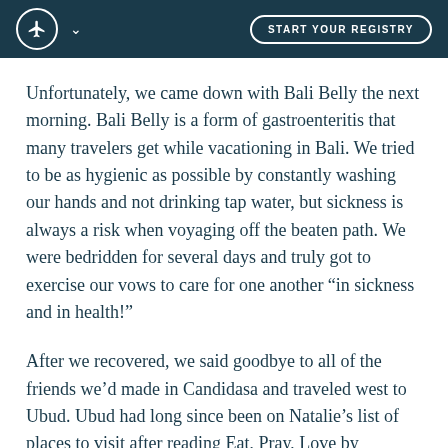START YOUR REGISTRY
Unfortunately, we came down with Bali Belly the next morning. Bali Belly is a form of gastroenteritis that many travelers get while vacationing in Bali. We tried to be as hygienic as possible by constantly washing our hands and not drinking tap water, but sickness is always a risk when voyaging off the beaten path. We were bedridden for several days and truly got to exercise our vows to care for one another “in sickness and in health!”
After we recovered, we said goodbye to all of the friends we’d made in Candidasa and traveled west to Ubud. Ubud had long since been on Natalie’s list of places to visit after reading Eat, Pray, Love by Elizabeth Gilbert. True enough, Ubud lived up to the book’s high expectations. The entire